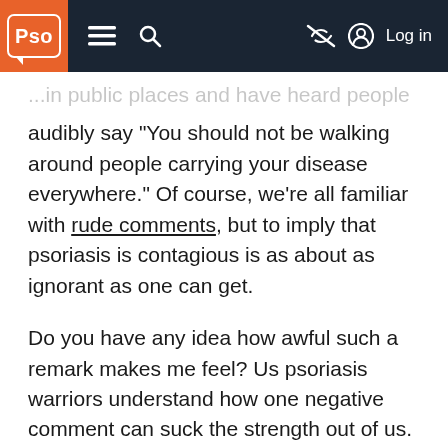Pso | navigation menu, search, log in
...in public places and have heard people audibly say "You should not be walking around people carrying your disease everywhere." Of course, we're all familiar with rude comments, but to imply that psoriasis is contagious is as about as ignorant as one can get.
Do you have any idea how awful such a remark makes me feel? Us psoriasis warriors understand how one negative comment can suck the strength out of us. This strength takes months to gather again. It's simply not fair.